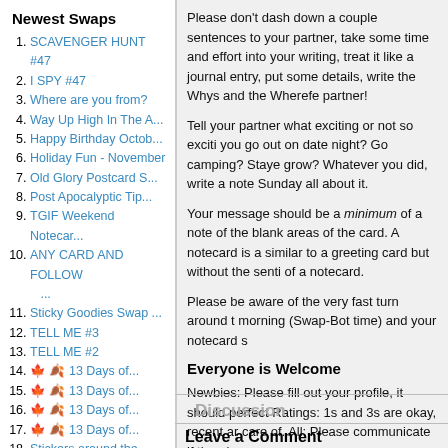Newest Swaps
SCAVENGER HUNT #47
I SPY #47
Where are you from?
Way Up High In The A...
Happy Birthday Octob...
Holiday Fun - November
Old Glory Postcard S...
Post Apocalyptic Tip...
TGIF Weekend Notecar...
ANY CARD AND FOLLOW ...
Sticky Goodies Swap ...
TELL ME #3
TELL ME #2
🍁 🍂 13 Days of...
🍁 🍂 13 Days of...
🍁 🍂 13 Days of...
🍁 🍂 13 Days of...
Stickers around the ...
TELL ME #1
Handmade Thanksgivin...
Please don't dash down a couple sentences to your partner, take some time and effort into your writing, treat it like a journal entry, put some details, write the Whys and the Wherefores and surprise your partner!
Tell your partner what exciting or not so exciting things you did, did you go out on date night? Go camping? Stayed home and watched a movie grow? Whatever you did, write a note Sunday all about it.
Your message should be a minimum of a notecard filling both sides of the blank areas of the card. A notecard is a folded piece of cardstock similar to a greeting card but without the sentimental sayings inside of a notecard.
Please be aware of the very fast turn around time. Closes Sunday morning (Swap-Bot time) and your notecard s
Everyone is Welcome
Newbies: Please fill out your profile, it should perfect Ratings: 1s and 3s are okay, recent ar care of. All: Please communicate if there's an
Have Fun and Happy Swapping!
Discussion
Leave a Comment